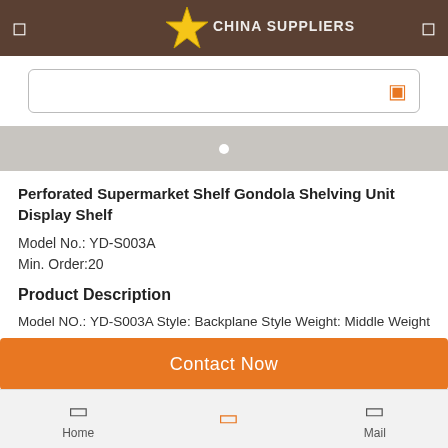CHINA SUPPLIERS
[Figure (screenshot): Search input bar with orange search icon on right]
[Figure (other): Gray banner/slider area with white dot indicator]
Perforated Supermarket Shelf Gondola Shelving Unit Display Shelf
Model No.:  YD-S003A
Min. Order:20
Product Description
Model NO.: YD-S003A Style: Backplane Style Weight: Middle Weight Usage: Shop, Supermarket, Convenient Store Condition: New Loading Port: Shanghai Surface Treatment: Powder Coating Transport Package: Packed by Carton and
Contact Now
Home   Mail